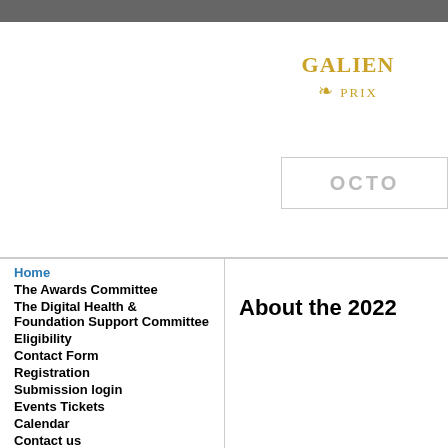GALIEN PRIX | OCTO...
Home
The Awards Committee
The Digital Health & Foundation Support Committee
Eligibility
Contact Form
Registration
Submission login
Events Tickets
Calendar
Contact us
About the 2022